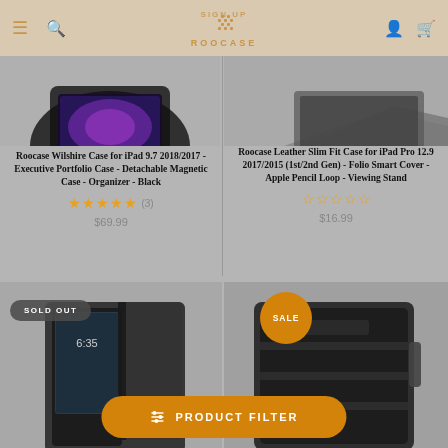[Figure (screenshot): Roocase e-commerce website header with logo, search, user and cart icons]
[Figure (photo): Roocase Wilshire Case for iPad product image, partially visible at top]
Roocase Wilshire Case for iPad 9.7 2018/2017 - Executive Portfolio Case - Detachable Magnetic Case - Organizer - Black
★★★★★ (3)
$69.99
[Figure (photo): Roocase Leather Slim Fit Case for iPad Pro product image, partially visible at top]
Roocase Leather Slim Fit Case for iPad Pro 12.9 2017/2015 (1st/2nd Gen) - Folio Smart Cover - Apple Pencil Loop - Viewing Stand
☆☆☆☆☆
$16.99
SOLD OUT
[Figure (photo): Black iPad tablet folio case, sold out product image]
SALE
[Figure (photo): Black laptop/tablet sleeve, sale product image]
PRODUCT FILTER